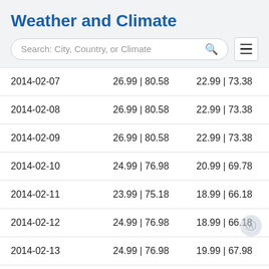Weather and Climate
Search: City, Country, or Climate
| 2014-02-07 | 26.99 | 80.58 | 22.99 | 73.38 |
| 2014-02-08 | 26.99 | 80.58 | 22.99 | 73.38 |
| 2014-02-09 | 26.99 | 80.58 | 22.99 | 73.38 |
| 2014-02-10 | 24.99 | 76.98 | 20.99 | 69.78 |
| 2014-02-11 | 23.99 | 75.18 | 18.99 | 66.18 |
| 2014-02-12 | 24.99 | 76.98 | 18.99 | 66.18 |
| 2014-02-13 | 24.99 | 76.98 | 19.99 | 67.98 |